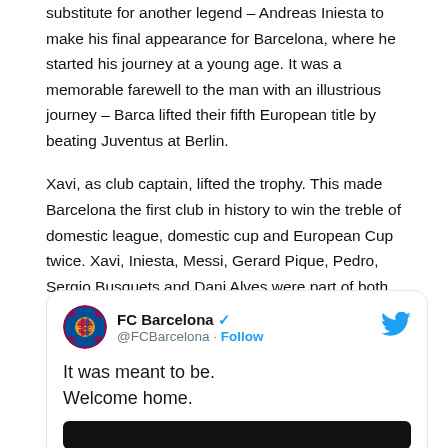substitute for another legend – Andreas Iniesta to make his final appearance for Barcelona, where he started his journey at a young age. It was a memorable farewell to the man with an illustrious journey – Barca lifted their fifth European title by beating Juventus at Berlin.
Xavi, as club captain, lifted the trophy. This made Barcelona the first club in history to win the treble of domestic league, domestic cup and European Cup twice. Xavi, Iniesta, Messi, Gerard Pique, Pedro, Sergio Busquets and Dani Alves were part of both treble-winning teams.
[Figure (screenshot): Tweet from FC Barcelona (@FCBarcelona) with verified badge and Follow button. Tweet text reads: 'It was meant to be. Welcome home.' with a partially visible dark image at the bottom.]